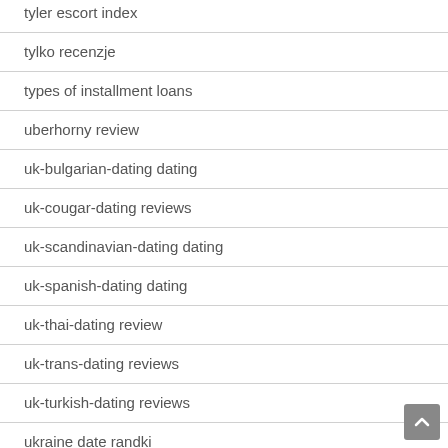tyler escort index
tylko recenzje
types of installment loans
uberhorny review
uk-bulgarian-dating dating
uk-cougar-dating reviews
uk-scandinavian-dating dating
uk-spanish-dating dating
uk-thai-dating review
uk-trans-dating reviews
uk-turkish-dating reviews
ukraine date randki
ukraine date review